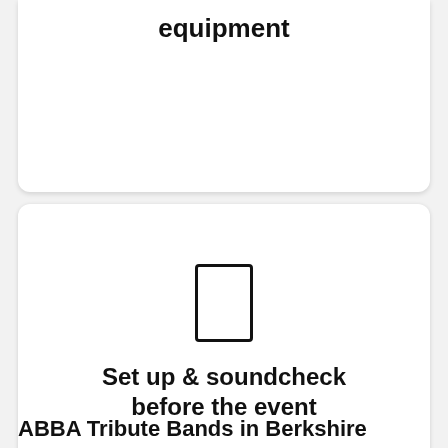equipment
[Figure (illustration): A simple rectangle outline icon representing a mobile device or card]
Set up & soundcheck before the event
ABBA Tribute Bands in Berkshire